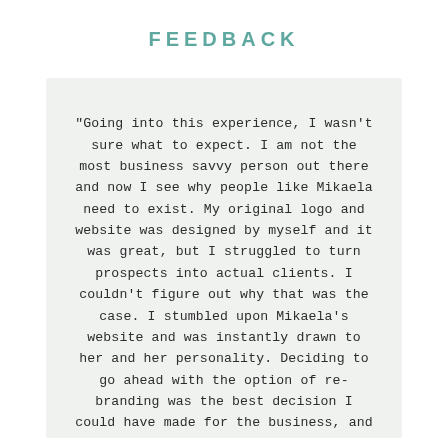FEEDBACK
"Going into this experience, I wasn't sure what to expect. I am not the most business savvy person out there and now I see why people like Mikaela need to exist. My original logo and website was designed by myself and it was great, but I struggled to turn prospects into actual clients. I couldn't figure out why that was the case. I stumbled upon Mikaela's website and was instantly drawn to her and her personality. Deciding to go ahead with the option of re-branding was the best decision I could have made for the business, and I had no doubts about anything. I wanted to connect to my viewers on a deeper level and feel professional but trustworthy enough to look after their pets - mentally, physically, emotionally,